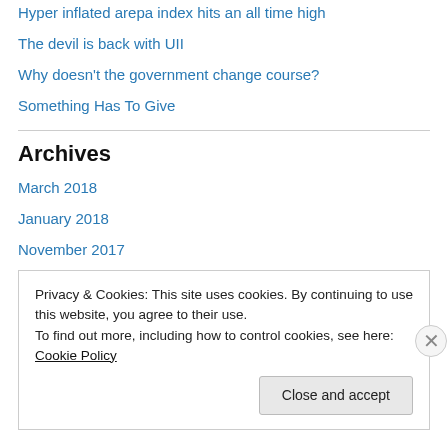Hyper inflated arepa index hits an all time high
The devil is back with UII
Why doesn't the government change course?
Something Has To Give
Archives
March 2018
January 2018
November 2017
April 2017
March 2017
Privacy & Cookies: This site uses cookies. By continuing to use this website, you agree to their use.
To find out more, including how to control cookies, see here: Cookie Policy
Close and accept